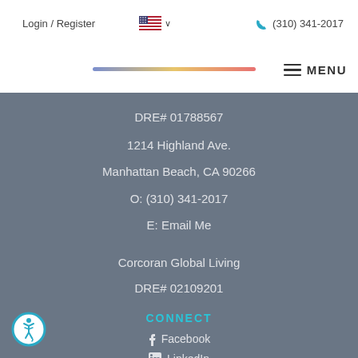Login / Register   🇺🇸 ∨   (310) 341-2017
[Figure (other): Gradient bar with blue-to-yellow-to-red gradient and hamburger MENU button]
DRE# 01788567
1214 Highland Ave.
Manhattan Beach, CA 90266
O: (310) 341-2017
E: Email Me
Corcoran Global Living
DRE# 02109201
CONNECT
Facebook
LinkedIn
[Figure (illustration): Accessibility icon — wheelchair user symbol in a circle with teal border]